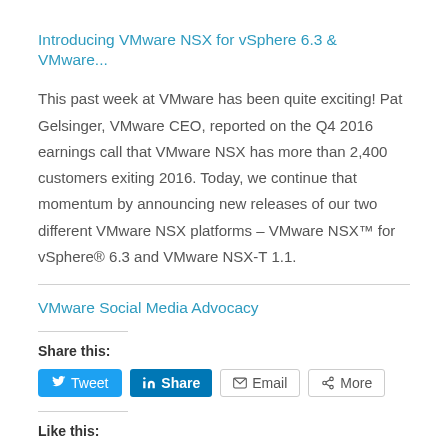Introducing VMware NSX for vSphere 6.3 & VMware...
This past week at VMware has been quite exciting! Pat Gelsinger, VMware CEO, reported on the Q4 2016 earnings call that VMware NSX has more than 2,400 customers exiting 2016. Today, we continue that momentum by announcing new releases of our two different VMware NSX platforms – VMware NSX™ for vSphere® 6.3 and VMware NSX-T 1.1.
VMware Social Media Advocacy
Share this:
Like this: